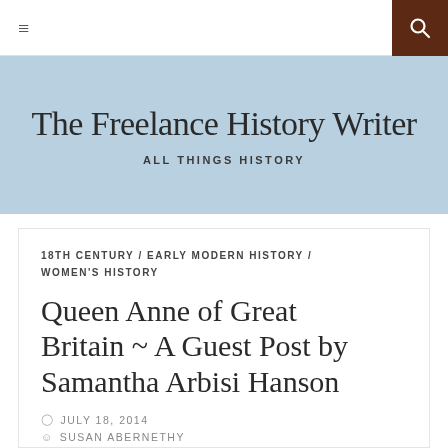≡  [search icon]
The Freelance History Writer
ALL THINGS HISTORY
18TH CENTURY / EARLY MODERN HISTORY / WOMEN'S HISTORY
Queen Anne of Great Britain ~ A Guest Post by Samantha Arbisi Hanson
JULY 18, 2014
SUSAN ABERNETHY
13 COMMENTS